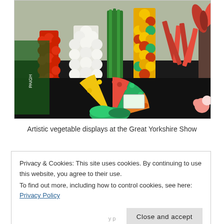[Figure (photo): Artistic vegetable and fruit displays arranged in colorful towers and fan shapes on a black table at the Great Yorkshire Show. Includes tomatoes, cauliflower, peppers, green vegetables, and decorative plants.]
Artistic vegetable displays at the Great Yorkshire Show
Privacy & Cookies: This site uses cookies. By continuing to use this website, you agree to their use.
To find out more, including how to control cookies, see here: Privacy Policy